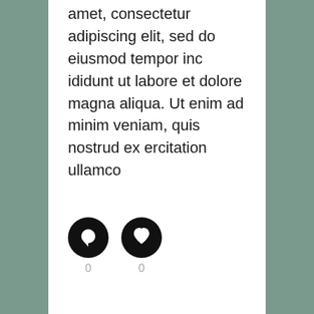amet, consectetur adipiscing elit, sed do eiusmod tempor inc ididunt ut labore et dolore magna aliqua. Ut enim ad minim veniam, quis nostrud ex ercitation ullamco
[Figure (illustration): Two black circular icon buttons side by side: a comment/speech bubble icon and a heart/like icon, each with a count of 0 below them.]